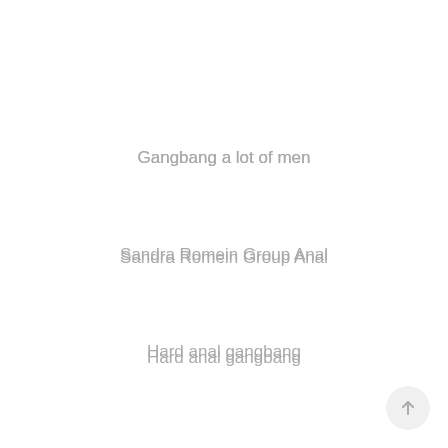Gangbang a lot of men
Sandra Romein Group Anal
Hard anal gangbang
Gangbang a lot of men
Josephine James Gang Bang